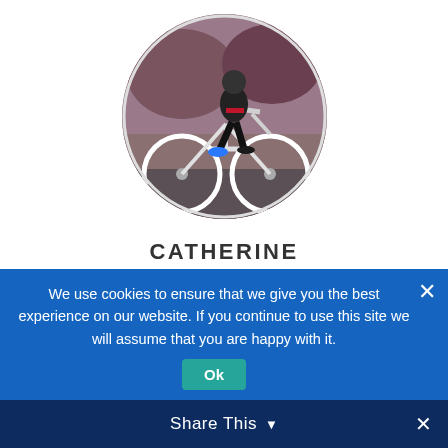[Figure (photo): Circular profile photo of a person on a bicycle, taken outdoors near a brick wall with reddish foliage in the background.]
CATHERINE
Chef, Content Designer, Expert Mediator!
[Figure (photo): Circular profile photo (partially visible) of a horse or horse head, outdoors on green grass.]
We use cookies to ensure that we give you the best experience on our website. If you continue to use this site we will assume that you are happy with it.
Ok
Share This